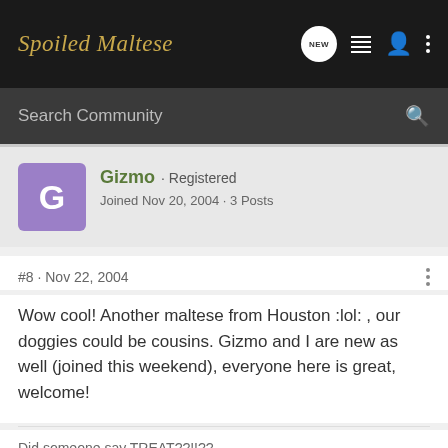Spoiled Maltese
Search Community
Gizmo · Registered
Joined Nov 20, 2004 · 3 Posts
#8 · Nov 22, 2004
Wow cool! Another maltese from Houston :lol: , our doggies could be cousins. Gizmo and I are new as well (joined this weekend), everyone here is great, welcome!
Did someone say TREAT??!!??